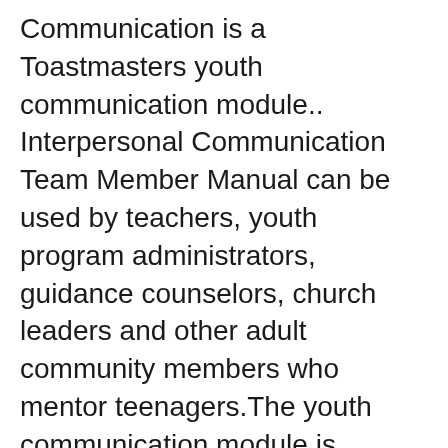Communication is a Toastmasters youth communication module.. Interpersonal Communication Team Member Manual can be used by teachers, youth program administrators, guidance counselors, church leaders and other adult community members who mentor teenagers.The youth communication module is flexible; team leaders can use all lessons or just parts of each, depending вЂ¦
ADVANCED COMMUNICATION SERIES COMMUNICATING ON TELEVISION Assignment #2: THE TALK SHOW Objectives вЂў To understand the dynamics of a television Interview or вЂ¦talkвЂ™ show. вЂў To prepare for